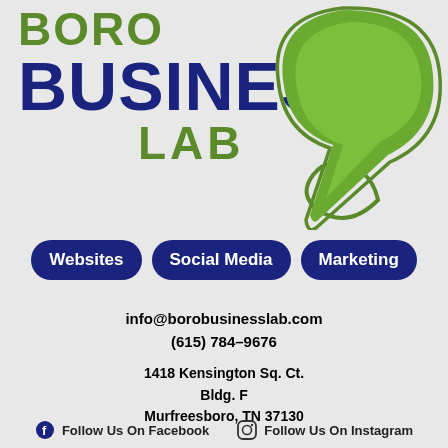[Figure (logo): Boro Business Lab logo with green arrow/pointer graphic on right and text: BORO in green, BUSINESS in dark blue, LAB in green]
[Figure (infographic): Three dark blue pill/badge shaped buttons reading: Websites, Social Media, Marketing]
info@borobusinesslab.com
(615) 784-9676
1418 Kensington Sq. Ct.
Bldg. F
Murfreesboro, TN 37130
Follow Us On Facebook   Follow Us On Instagram